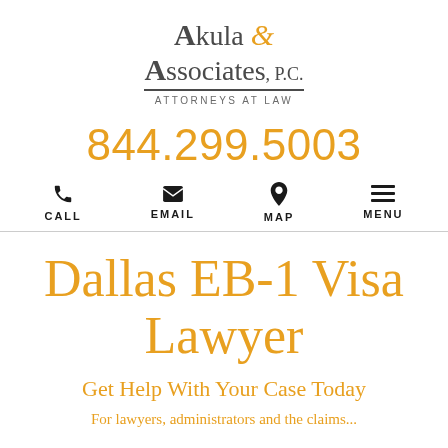[Figure (logo): Akula & Associates, P.C. Attorneys at Law law firm logo with ampersand in orange/gold]
844.299.5003
CALL  EMAIL  MAP  MENU
Dallas EB-1 Visa Lawyer
Get Help With Your Case Today
For lawyers, administrators and the claims...